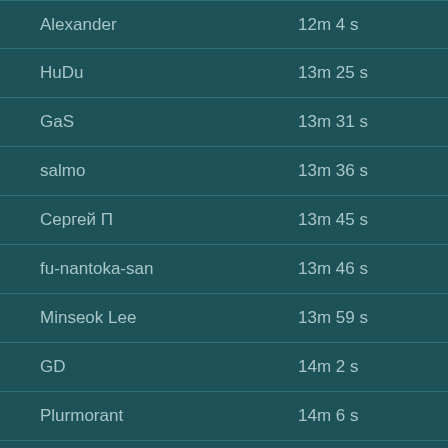| Name | Time |
| --- | --- |
| Alexander | 12m 4 s |
| HuDu | 13m 25 s |
| GaS | 13m 31 s |
| salmo | 13m 36 s |
| Сергей П | 13m 45 s |
| fu-nantoka-san | 13m 46 s |
| Minseok Lee | 13m 59 s |
| GD | 14m 2 s |
| Plurmorant | 14m 6 s |